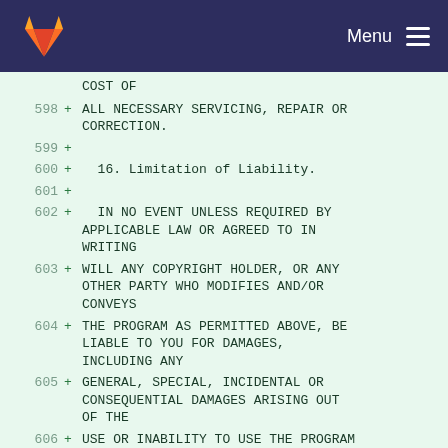GitLab — Menu
COST OF
598 + ALL NECESSARY SERVICING, REPAIR OR CORRECTION.
599 +
600 +   16. Limitation of Liability.
601 +
602 +   IN NO EVENT UNLESS REQUIRED BY APPLICABLE LAW OR AGREED TO IN WRITING
603 + WILL ANY COPYRIGHT HOLDER, OR ANY OTHER PARTY WHO MODIFIES AND/OR CONVEYS
604 + THE PROGRAM AS PERMITTED ABOVE, BE LIABLE TO YOU FOR DAMAGES, INCLUDING ANY
605 + GENERAL, SPECIAL, INCIDENTAL OR CONSEQUENTIAL DAMAGES ARISING OUT OF THE
606 + USE OR INABILITY TO USE THE PROGRAM (INCLUDING BUT NOT LIMITED TO LOSS